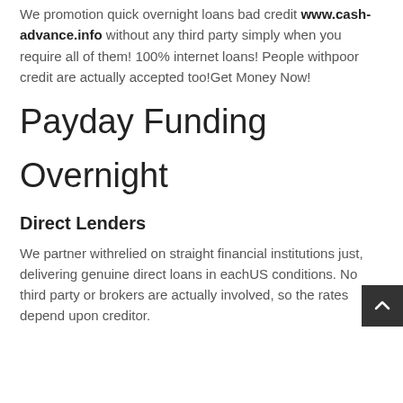We promotion quick overnight loans bad credit www.cash-advance.info without any third party simply when you require all of them! 100% internet loans! People withpoor credit are actually accepted too!Get Money Now!
Payday Funding
Overnight
Direct Lenders
We partner withrelied on straight financial institutions just, delivering genuine direct loans in eachUS conditions. No third party or brokers are actually involved, so the rates depend upon creditor.